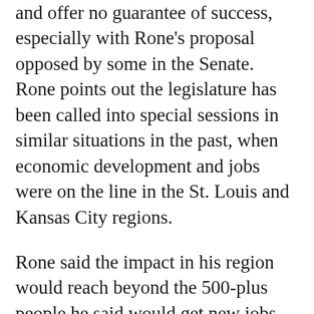and offer no guarantee of success, especially with Rone's proposal opposed by some in the Senate.  Rone points out the legislature has been called into special sessions in similar situations in the past, when economic development and jobs were on the line in the St. Louis and Kansas City regions.
Rone said the impact in his region would reach beyond the 500-plus people he said would get new jobs from the two new facilities.
“500 jobs would probably relate to 2,000 people and all of the secondary jobs that would come around.  Restaurants staying open, businesses staying open, our port facilities becoming even a greater asset to us here at